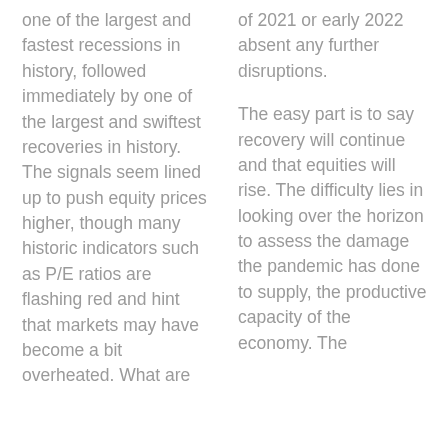one of the largest and fastest recessions in history, followed immediately by one of the largest and swiftest recoveries in history. The signals seem lined up to push equity prices higher, though many historic indicators such as P/E ratios are flashing red and hint that markets may have become a bit overheated. What are
of 2021 or early 2022 absent any further disruptions.
The easy part is to say recovery will continue and that equities will rise. The difficulty lies in looking over the horizon to assess the damage the pandemic has done to supply, the productive capacity of the economy. The